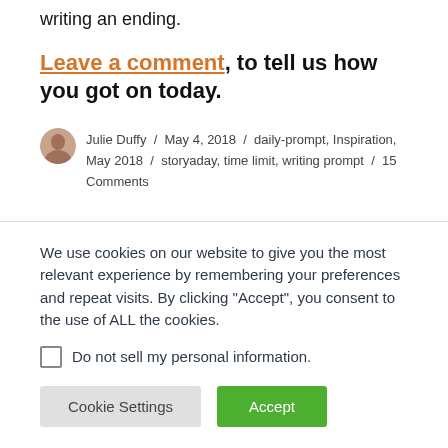writing an ending.
Leave a comment, to tell us how you got on today.
Julie Duffy / May 4, 2018 / daily-prompt, Inspiration, May 2018 / storyaday, time limit, writing prompt / 15 Comments
We use cookies on our website to give you the most relevant experience by remembering your preferences and repeat visits. By clicking “Accept”, you consent to the use of ALL the cookies.
Do not sell my personal information.